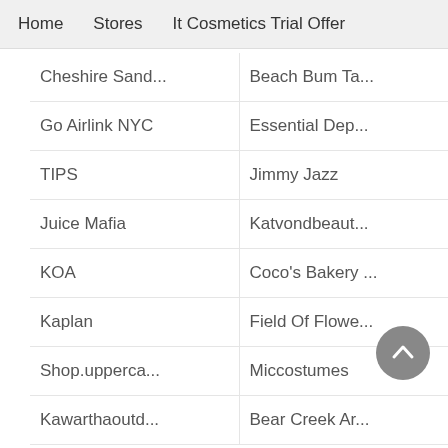Home  Stores  It Cosmetics Trial Offer
Cheshire Sand...   Beach Bum Ta...
Go Airlink NYC   Essential Dep...
TIPS   Jimmy Jazz
Juice Mafia   Katvondbeaut...
KOA   Coco's Bakery ...
Kaplan   Field Of Flowe...
Shop.upperca...   Miccostumes
Kawarthaoutd...   Bear Creek Ar...